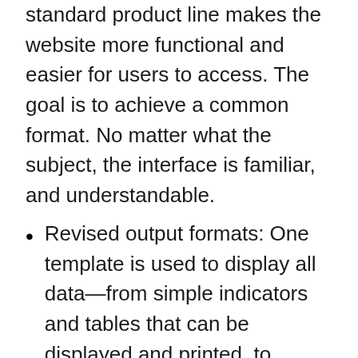standard product line makes the website more functional and easier for users to access. The goal is to achieve a common format. No matter what the subject, the interface is familiar, and understandable.
Revised output formats: One template is used to display all data—from simple indicators and tables that can be displayed and printed, to complex tables that can be customized and manipulated. Users are able to download full datasets using a variety of different methods, should they wish.
Statistics Canada is also introducing